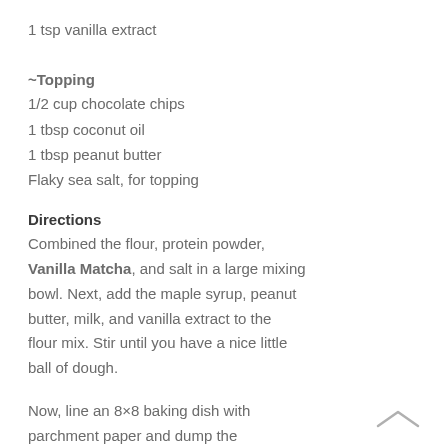1 tsp vanilla extract
~Topping
1/2 cup chocolate chips
1 tbsp coconut oil
1 tbsp peanut butter
Flaky sea salt, for topping
Directions
Combined the flour, protein powder, Vanilla Matcha, and salt in a large mixing bowl. Next, add the maple syrup, peanut butter, milk, and vanilla extract to the flour mix. Stir until you have a nice little ball of dough.
Now, line an 8×8 baking dish with parchment paper and dump the